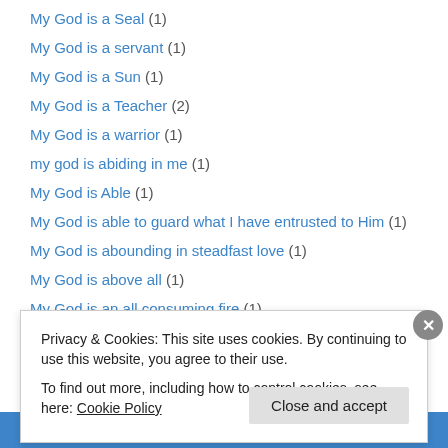My God is a Seal (1)
My God is a servant (1)
My God is a Sun (1)
My God is a Teacher (2)
My God is a warrior (1)
my god is abiding in me (1)
My God is Able (1)
My God is able to guard what I have entrusted to Him (1)
My God is abounding in steadfast love (1)
My God is above all (1)
My God is an all consuming fire (1)
My God is Anointed (1)
My God is Answering (1)
Privacy & Cookies: This site uses cookies. By continuing to use this website, you agree to their use. To find out more, including how to control cookies, see here: Cookie Policy
Close and accept
app you'll ever need.